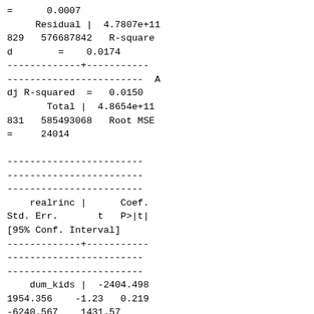= 0.0007
     Residual |  4.7807e+11
829  576687842   R-square
d        =    0.0174
-------------+-----------
------------------------  A
dj R-squared  =   0.0150
       Total |  4.8654e+11
831  585493068   Root MSE
=    24014

------------------------
------------------------
------------------------
    realrinc |      Coef.
Std. Err.       t   P>|t|
[95% Conf. Interval]
-------------+-----------
------------------------
------------------------
    dum_kids |  -2404.498
1954.356    -1.23  0.219
-6240.567    1431.57
          age |  236.9486
61.97975      3.82  0.000
115.2929  358.6043
          cons |  10289.93